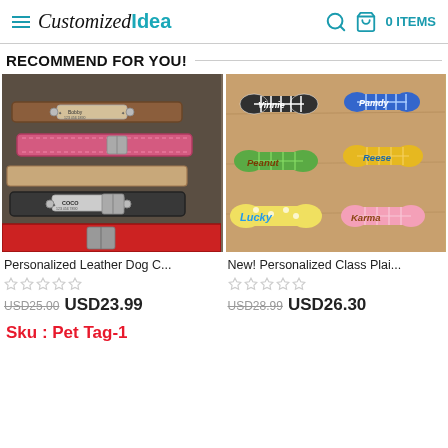CustomizedIdea — 0 ITEMS
RECOMMEND FOR YOU!
[Figure (photo): Stack of personalized leather dog collars in brown, pink, tan, and red with engraved name plates showing Bobby and Coco]
Personalized Leather Dog C...
☆☆☆☆☆
USD25.00 USD23.99
[Figure (photo): Six colorful plaid dog bone plush toys with embroidered names: Vinnie, Pamdy, Peanut, Reese, Lucky, Karma]
New! Personalized Class Plai...
☆☆☆☆☆
USD28.99 USD26.30
Sku : Pet Tag-1